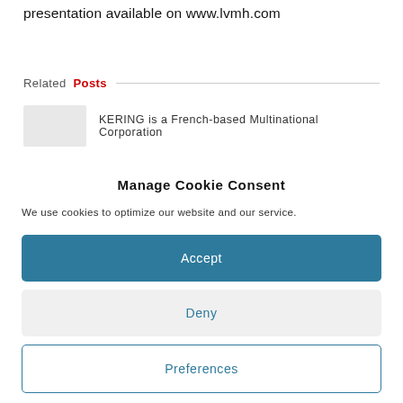presentation available on www.lvmh.com
Related Posts
KERING is a French-based Multinational Corporation
Manage Cookie Consent
We use cookies to optimize our website and our service.
Accept
Deny
Preferences